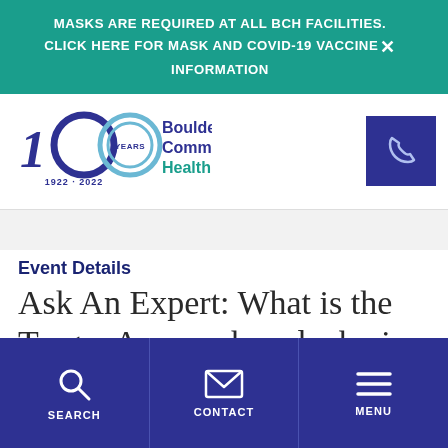MASKS ARE REQUIRED AT ALL BCH FACILITIES. CLICK HERE FOR MASK AND COVID-19 VACCINE INFORMATION
[Figure (logo): Boulder Community Health 100 Years 1922-2022 logo with teal and navy text]
Event Details
Ask An Expert: What is the Trager Approach and why is
SEARCH   CONTACT   MENU